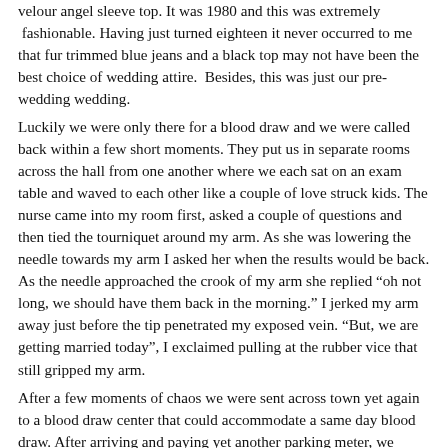velour angel sleeve top. It was 1980 and this was extremely fashionable. Having just turned eighteen it never occurred to me that fur trimmed blue jeans and a black top may not have been the best choice of wedding attire.  Besides, this was just our pre-wedding wedding.
Luckily we were only there for a blood draw and we were called back within a few short moments. They put us in separate rooms across the hall from one another where we each sat on an exam table and waved to each other like a couple of love struck kids. The nurse came into my room first, asked a couple of questions and then tied the tourniquet around my arm. As she was lowering the needle towards my arm I asked her when the results would be back. As the needle approached the crook of my arm she replied "oh not long, we should have them back in the morning." I jerked my arm away just before the tip penetrated my exposed vein. "But, we are getting married today", I exclaimed pulling at the rubber vice that still gripped my arm.
After a few moments of chaos we were sent across town yet again to a blood draw center that could accommodate a same day blood draw. After arriving and paying yet another parking meter, we made our way to a nice waiting area where we were met by a very friendly lady who assured us it would not take long to complete the process.  After only